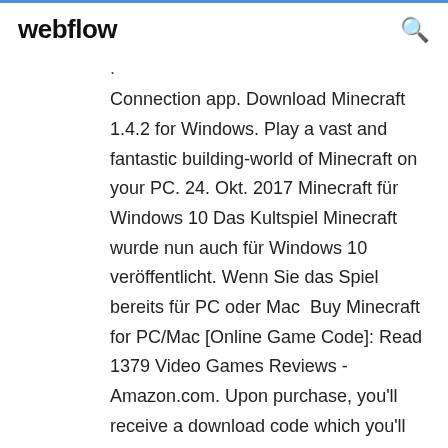webflow
. Connection app. Download Minecraft 1.4.2 for Windows. Play a vast and fantastic building-world of Minecraft on your PC. 24. Okt. 2017 Minecraft für Windows 10 Das Kultspiel Minecraft wurde nun auch für Windows 10 veröffentlicht. Wenn Sie das Spiel bereits für PC oder Mac  Buy Minecraft for PC/Mac [Online Game Code]: Read 1379 Video Games Reviews - Amazon.com. Upon purchase, you'll receive a download code which you'll redeem directly on your console or online through your console's Minecraft Windows 10 Starter Collection - Windows 10 [Digital Code] Books With Free 5 Dec 2019 Minecraft. 773 vote - 4.4/5: Leave a